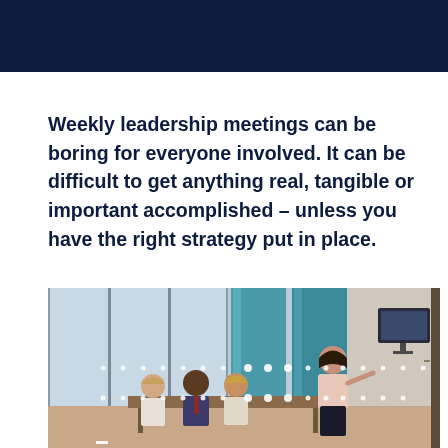Weekly leadership meetings can be boring for everyone involved. It can be difficult to get anything real, tangible or important accomplished – unless you have the right strategy put in place.
[Figure (photo): A woman presenting to a small group of colleagues in a modern office meeting room with large glass windows and teal/turquoise architectural columns. The presenter is standing next to a wall-mounted screen gesturing toward it, while attendees are seated around a table.]